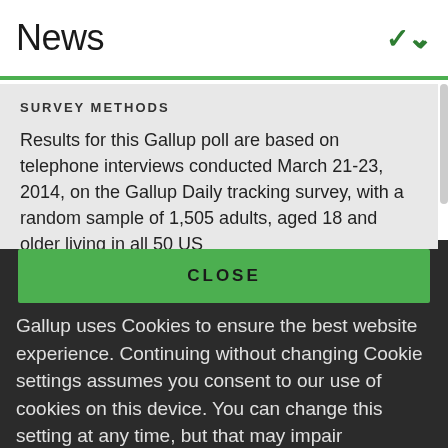News
SURVEY METHODS
Results for this Gallup poll are based on telephone interviews conducted March 21-23, 2014, on the Gallup Daily tracking survey, with a random sample of 1,505 adults, aged 18 and older living in all 50 US...
CLOSE
Gallup uses Cookies to ensure the best website experience. Continuing without changing Cookie settings assumes you consent to our use of cookies on this device. You can change this setting at any time, but that may impair functionality on our websites.
Privacy Statement   Site Terms of Use and Sale
Product Terms of Use   Adjust your cookie settings.